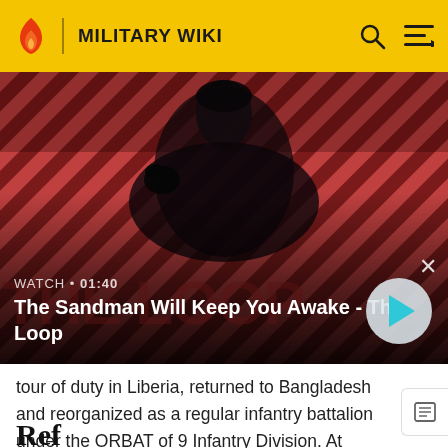MILITARY WIKI
[Figure (screenshot): Video thumbnail showing a dark figure with a raven on their shoulder against a red diagonal-striped background. Title reads 'The Sandman Will Keep You Awake - The Loop' with WATCH • 01:40 label and a play button.]
tour of duty in Liberia, returned to Bangladesh and reorganized as a regular infantry battalion under the ORBAT of 9 Infantry Division. At present the Battalion is deployed in CHT under 24 Infantry Division.
Ref